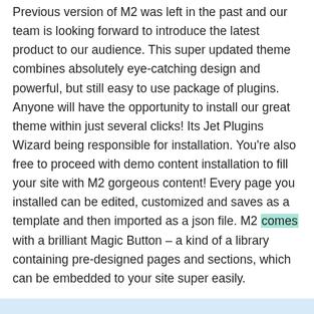Previous version of M2 was left in the past and our team is looking forward to introduce the latest product to our audience. This super updated theme combines absolutely eye-catching design and powerful, but still easy to use package of plugins. Anyone will have the opportunity to install our great theme within just several clicks! Its Jet Plugins Wizard being responsible for installation. You're also free to proceed with demo content installation to fill your site with M2 gorgeous content! Every page you installed can be edited, customized and saves as a template and then imported as a json file. M2 comes with a brilliant Magic Button – a kind of a library containing pre-designed pages and sections, which can be embedded to your site super easily.